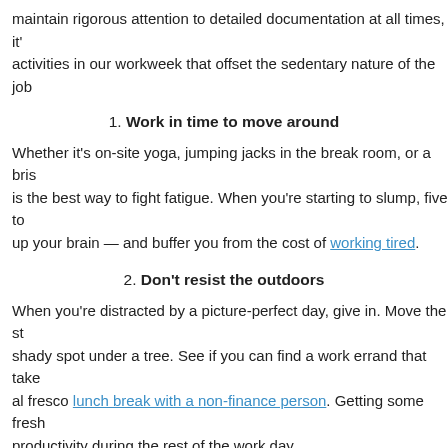maintain rigorous attention to detailed documentation at all times, it's activities in our workweek that offset the sedentary nature of the job
1. Work in time to move around
Whether it's on-site yoga, jumping jacks in the break room, or a bris is the best way to fight fatigue. When you're starting to slump, five to up your brain — and buffer you from the cost of working tired.
2. Don't resist the outdoors
When you're distracted by a picture-perfect day, give in. Move the s shady spot under a tree. See if you can find a work errand that take al fresco lunch break with a non-finance person. Getting some fresh productivity during the rest of the work day.
3. Fuel your body with healthier food choices
If you're stuck at your desk, you can get a summertime lift by choos season. Pack a pasta salad filled with fresh tomatoes, grilled zucchi afternoon of processing payroll, reward yourself with a carton of fres